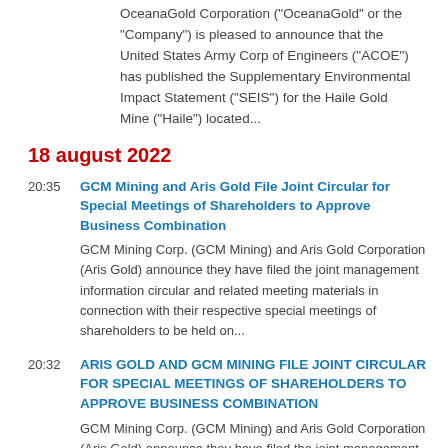OceanaGold Corporation ("OceanaGold" or the "Company") is pleased to announce that the United States Army Corp of Engineers ("ACOE") has published the Supplementary Environmental Impact Statement ("SEIS") for the Haile Gold Mine ("Haile") located...
18 august 2022
20:35
GCM Mining and Aris Gold File Joint Circular for Special Meetings of Shareholders to Approve Business Combination
GCM Mining Corp. (GCM Mining) and Aris Gold Corporation (Aris Gold) announce they have filed the joint management information circular and related meeting materials in connection with their respective special meetings of shareholders to be held on...
20:32
ARIS GOLD AND GCM MINING FILE JOINT CIRCULAR FOR SPECIAL MEETINGS OF SHAREHOLDERS TO APPROVE BUSINESS COMBINATION
GCM Mining Corp. (GCM Mining) and Aris Gold Corporation (Aris Gold) announce they have filed the joint management information circular and related meeting materials in connection with their respective special meetings of shareholders to be held...